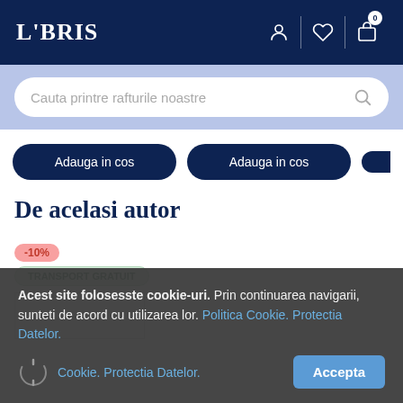LIBRIS
Cauta printre rafturile noastre
Adauga in cos | Adauga in cos
De acelasi autor
-10%
TRANSPORT GRATUIT
Acest site foloseste cookie-uri. Prin continuarea navigarii, sunteti de acord cu utilizarea lor. Politica Cookie. Protectia Datelor.
Accepta